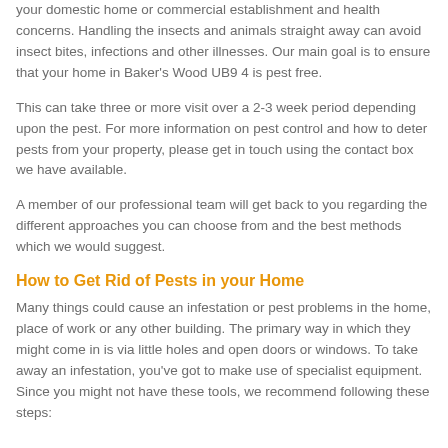your domestic home or commercial establishment and health concerns. Handling the insects and animals straight away can avoid insect bites, infections and other illnesses. Our main goal is to ensure that your home in Baker's Wood UB9 4 is pest free.
This can take three or more visit over a 2-3 week period depending upon the pest. For more information on pest control and how to deter pests from your property, please get in touch using the contact box we have available.
A member of our professional team will get back to you regarding the different approaches you can choose from and the best methods which we would suggest.
How to Get Rid of Pests in your Home
Many things could cause an infestation or pest problems in the home, place of work or any other building. The primary way in which they might come in is via little holes and open doors or windows. To take away an infestation, you've got to make use of specialist equipment. Since you might not have these tools, we recommend following these steps: